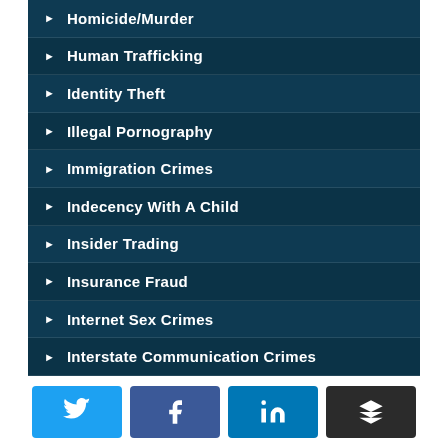Homicide/Murder
Human Trafficking
Identity Theft
Illegal Pornography
Immigration Crimes
Indecency With A Child
Insider Trading
Insurance Fraud
Internet Sex Crimes
Interstate Communication Crimes